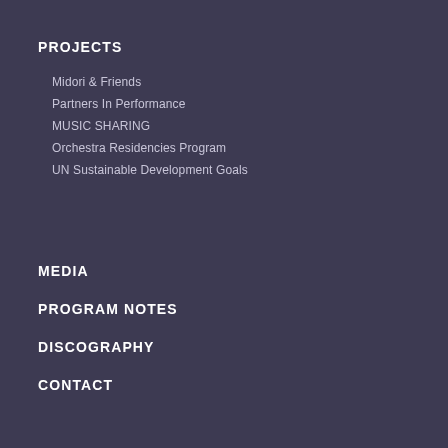PROJECTS
Midori & Friends
Partners In Performance
MUSIC SHARING
Orchestra Residencies Program
UN Sustainable Development Goals
MEDIA
PROGRAM NOTES
DISCOGRAPHY
CONTACT